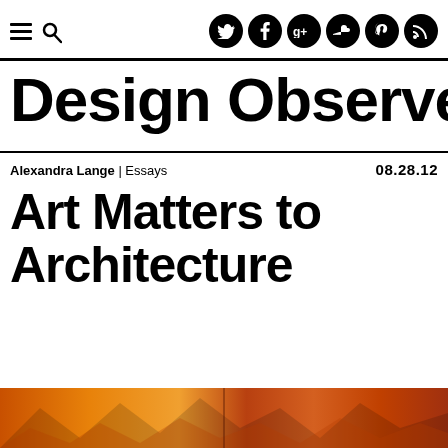Design Observer navigation bar with menu, search, and social icons (Twitter, Facebook, Google+, SoundCloud, Pinterest, RSS)
Design Observer
Alexandra Lange | Essays  08.28.12
Art Matters to Architecture
[Figure (photo): Hero image strip at bottom showing colorful abstract/architectural imagery in orange and red tones]